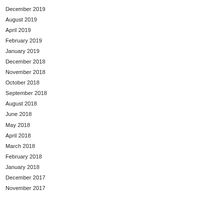December 2019
August 2019
April 2019
February 2019
January 2019
December 2018
November 2018
October 2018
September 2018
August 2018
June 2018
May 2018
April 2018
March 2018
February 2018
January 2018
December 2017
November 2017